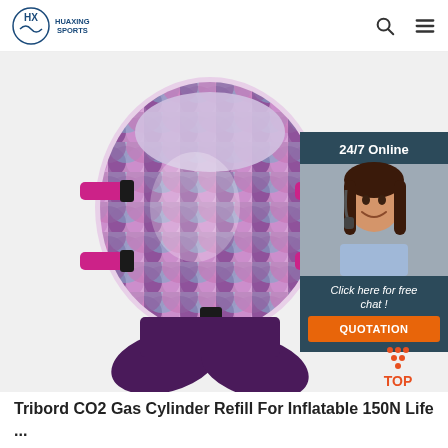HUAXING SPORTS
[Figure (photo): Product photo of a child's inflatable life jacket/vest with purple and pink fish-scale pattern, pink straps and buckles, with dark purple bottom flaps. Overlaid with a 24/7 customer support chat widget showing a smiling woman with a headset, text 'Click here for free chat!' and an orange QUOTATION button. A red/orange TOP button is visible at bottom right.]
Tribord CO2 Gas Cylinder Refill For Inflatable 150N Life ...